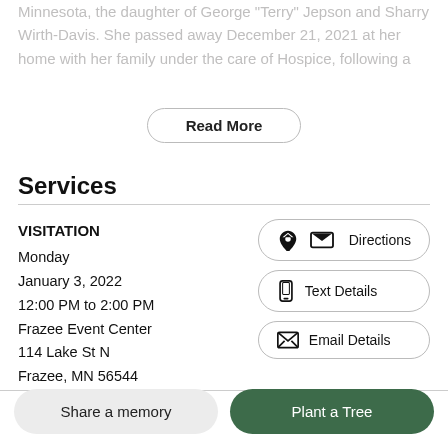Minnesota, the daughter of George "Terry" Jepson and Sharry Wirth-Davis. She passed away December 21, 2021 at her home with her family under the care of Hospice, following a
Read More
Services
VISITATION
Monday
January 3, 2022
12:00 PM to 2:00 PM
Frazee Event Center
114 Lake St N
Frazee, MN 56544
Directions
Text Details
Email Details
Share a memory
Plant a Tree